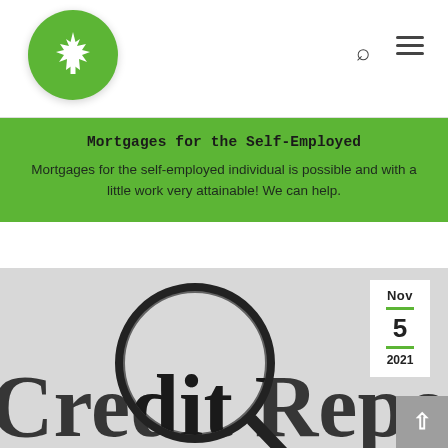[Figure (logo): Green circle logo with white maple leaf, Canadian mortgage company]
Navigation header with logo, search icon, and hamburger menu
Mortgages for the Self-Employed
Mortgages for the self-employed individual is possible and with a little work very attainable! We can help.
[Figure (photo): Photo of a magnifying glass over a document reading 'Credit Report', with a date badge showing Nov 5 2021 and a scroll-to-top button]